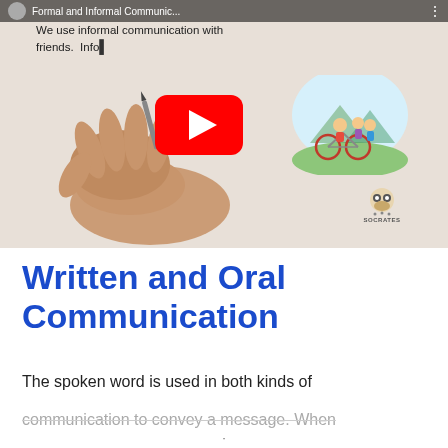[Figure (screenshot): YouTube video thumbnail showing 'Formal and Informal Communication...' with a hand writing on a whiteboard, a YouTube play button, a cartoon illustration of children on a bicycle, and the Socrates logo. Text overlay reads 'We use informal communication with friends. Info...']
Written and Oral Communication
The spoken word is used in both kinds of communication to convey a message. When